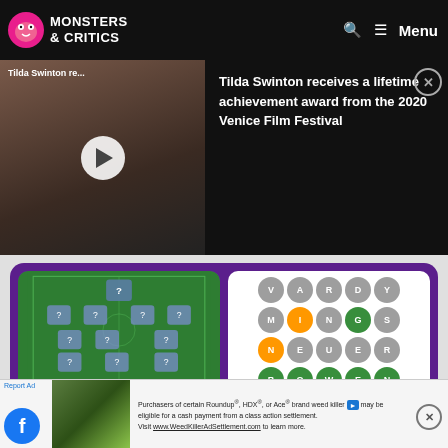Monsters & Critics
[Figure (screenshot): Video thumbnail showing Tilda Swinton at what appears to be a red carpet event, with a play button overlay]
Tilda Swinton receives a lifetime achievement award from the 2020 Venice Film Festival
[Figure (screenshot): Advertisement showing two games: Missing 11 (soccer lineup game) and Football Wordle (word guessing game with football player names)]
Report Ad
[Figure (screenshot): Bottom banner advertisement: Purchasers of certain Roundup, HDX, or Ace brand weed killer may be eligible for a cash payment from a class action settlement. Visit www.WeedKillerAdSettlement.com to learn more.]
Report Ad